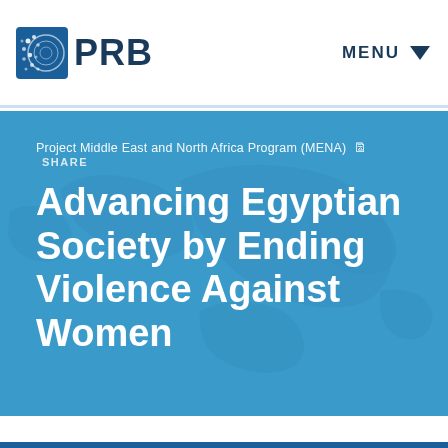PRB | MENU
Project Middle East and North Africa Program (MENA) SHARE
Advancing Egyptian Society by Ending Violence Against Women